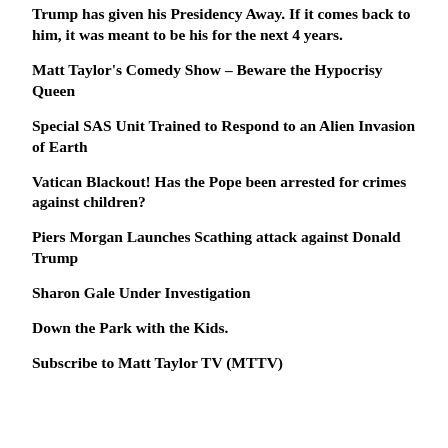Trump has given his Presidency Away. If it comes back to him, it was meant to be his for the next 4 years.
Matt Taylor's Comedy Show – Beware the Hypocrisy Queen
Special SAS Unit Trained to Respond to an Alien Invasion of Earth
Vatican Blackout! Has the Pope been arrested for crimes against children?
Piers Morgan Launches Scathing attack against Donald Trump
Sharon Gale Under Investigation
Down the Park with the Kids.
Subscribe to Matt Taylor TV (MTTV)